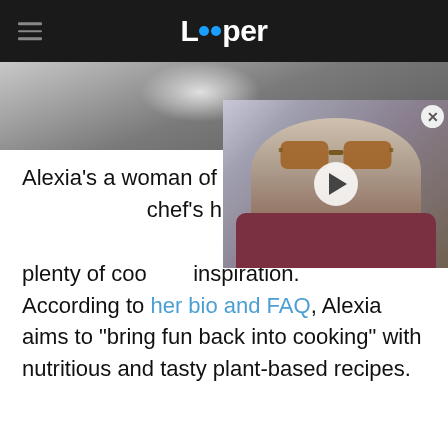Looper
[Figure (screenshot): Background image strip showing a kitchen/stovetop scene]
[Figure (photo): Video thumbnail overlay showing a man wearing orange-tinted sunglasses with a play button in the center and a close (X) button in the top right]
Alexia's a woman of many h... chef's hat. If you're hungry,... will bring you plenty of cooking inspiration. According to her bio and FAQ, Alexia aims to "bring fun back into cooking" with nutritious and tasty plant-based recipes.